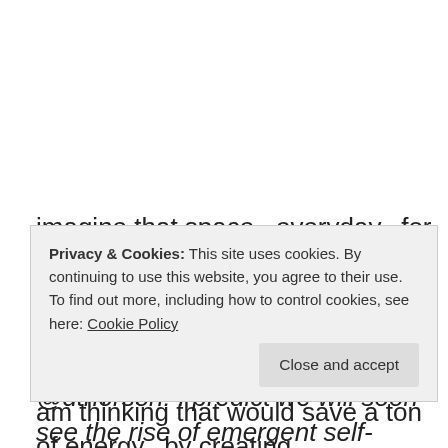imagine that space.. everyday.. for everyone.. ie: 2 convers as infra
listen & connect to undo our hierarchical listening
@dthorson: I predict we will soon see the rise of emergent self-governing collectives organized around shared problems or purpose. To participate in these collectives
Privacy & Cookies: This site uses cookies. By continuing to use this website, you agree to their use.
To find out more, including how to control cookies, see here: Cookie Policy
Close and accept
am thinking that would save a ton of energy.. by creating